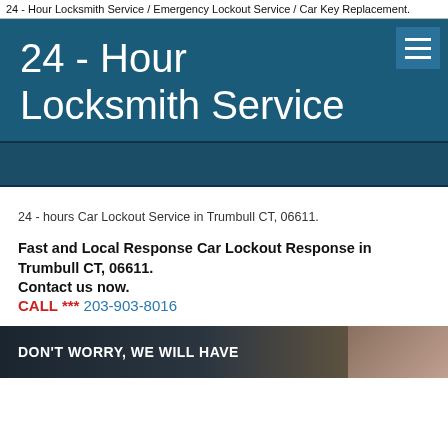24 - Hour Locksmith Service / Emergency Lockout Service / Car Key Replacement.
24 - Hour Locksmith Service
24 - hours Car Lockout Service in Trumbull CT, 06611.
Fast and Local Response Car Lockout Response in Trumbull CT, 06611.
Contact us now.
CALL *** 203-903-8016
[Figure (photo): Bottom banner with dark background showing text DON'T WORRY, WE WILL HAVE and a woman smiling on the right side]